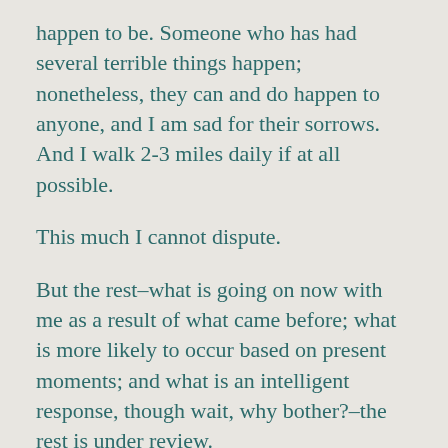happen to be. Someone who has had several terrible things happen; nonetheless, they can and do happen to anyone, and I am sad for their sorrows. And I walk 2-3 miles daily if at all possible.
This much I cannot dispute.
But the rest–what is going on now with me as a result of what came before; what is more likely to occur based on present moments; and what is an intelligent response, though wait, why bother?–the rest is under review.
Not that it never has been before. How often I–in fact, our collective of humanity–revisit the status of personhood, often and perhaps